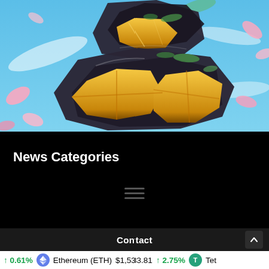[Figure (illustration): Digital art illustration of black and gold geometric rock/crystal formations stacked on top of each other against a blue sky background with pink petals floating around]
News Categories
[Figure (other): Hamburger menu icon with three horizontal lines]
Contact
↑ 0.61%  Ethereum (ETH)  $1,533.81  ↑ 2.75%  Tet